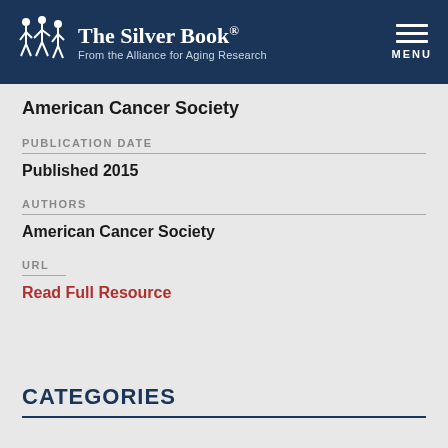The Silver Book® From the Alliance for Aging Research
American Cancer Society
PUBLICATION DATE
Published 2015
AUTHORS
American Cancer Society
URL
Read Full Resource
CATEGORIES